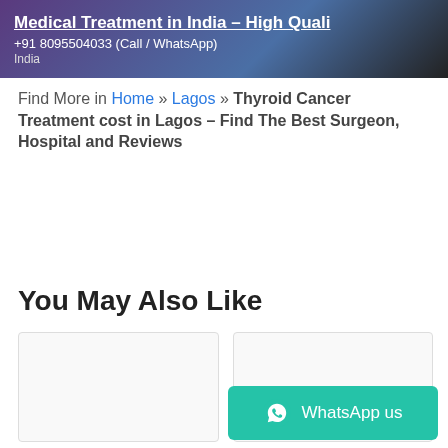[Figure (screenshot): Banner image for Medical Treatment in India – High Quali website with phone number +91 8095504033 (Call / WhatsApp) and location India]
Find More in Home » Lagos » Thyroid Cancer Treatment cost in Lagos – Find The Best Surgeon, Hospital and Reviews
You May Also Like
[Figure (other): Two white card placeholders side by side under 'You May Also Like' section]
[Figure (other): WhatsApp us button (teal/green) at bottom right with WhatsApp icon]